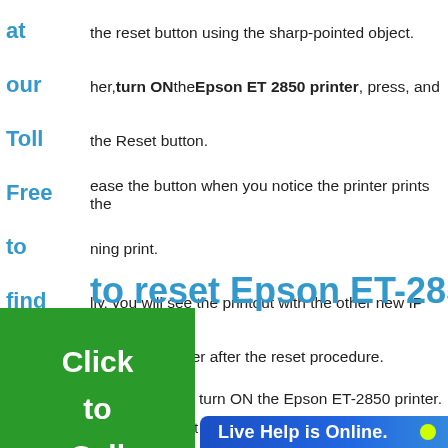at | the reset button using the sharp-pointed object.
our | her, turn ON the Epson ET 2850 printer, press, and
Toll | the Reset button.
Free | ease the button when you notice the printer prints the
to | ning print.
find | lly, you will see the printout with the other new IP
your | ess of the printer after the reset procedure.
perfect
option.
to reset Epson ET-2850
[Figure (other): Green button with text 'Click to Call']
turn ON the Epson ET-2850 printer.
e use reset butt
Live Help is Online.